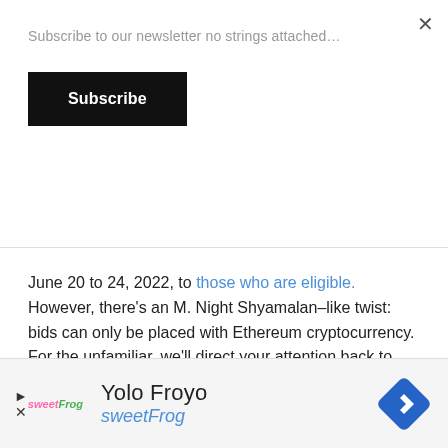Subscribe to our newsletter no strings attached…
Subscribe
June 20 to 24, 2022, to those who are eligible. However, there's an M. Night Shyamalan–like twist: bids can only be placed with Ethereum cryptocurrency. For the unfamiliar, we'll direct your attention back to Google.
All the crypto proceeds go to the DonorsChoose organization that's aimed at helping teachers in need. Because if this cryptocurrency and NFT business has aught us anything, it's that our youth need a good
[Figure (screenshot): Advertisement banner for Yolo Froyo by sweetFrog with logo and navigation icon]